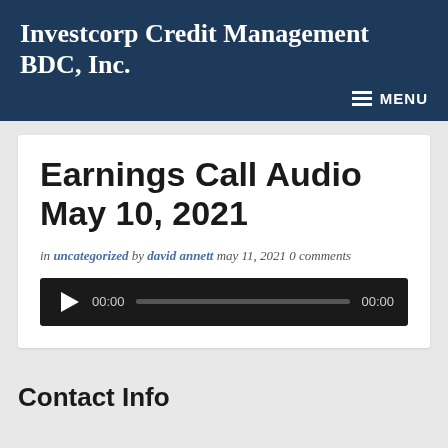Investcorp Credit Management BDC, Inc.
Earnings Call Audio May 10, 2021
in uncategorized by david annett may 11, 2021 0 comments
[Figure (other): Audio player widget showing play button, current time 00:00, progress bar, and total time 00:00]
Contact Info